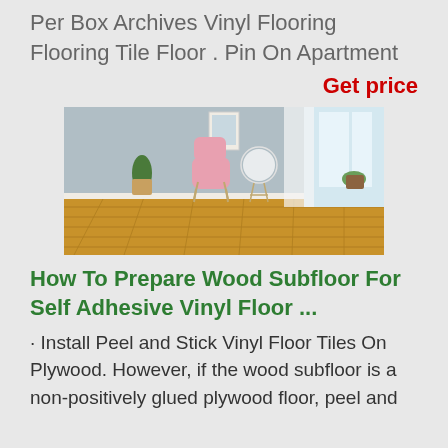Per Box Archives Vinyl Flooring Flooring Tile Floor . Pin On Apartment
Get price
[Figure (photo): A modern room interior with gray walls, wood-look vinyl flooring, a pink chair, white round side table, a plant in a basket, and a window with sheer curtains.]
How To Prepare Wood Subfloor For Self Adhesive Vinyl Floor ...
· Install Peel and Stick Vinyl Floor Tiles On Plywood. However, if the wood subfloor is a non-positively glued plywood floor, peel and